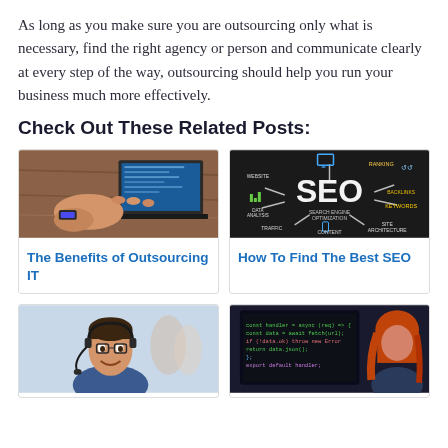As long as you make sure you are outsourcing only what is necessary, find the right agency or person and communicate clearly at every step of the way, outsourcing should help you run your business much more effectively.
Check Out These Related Posts:
[Figure (photo): Person typing on laptop at a wooden desk]
The Benefits of Outsourcing IT
[Figure (photo): Dark chalkboard with SEO concept diagram showing website, ranking, backlinks, search engine optimization, keywords, data analysis, traffic, content, site architecture]
How To Find The Best SEO
[Figure (photo): Man with headset smiling in a call center or office environment with colleagues in background]
[Figure (photo): Woman with red hair sitting in front of a monitor with code on the screen]